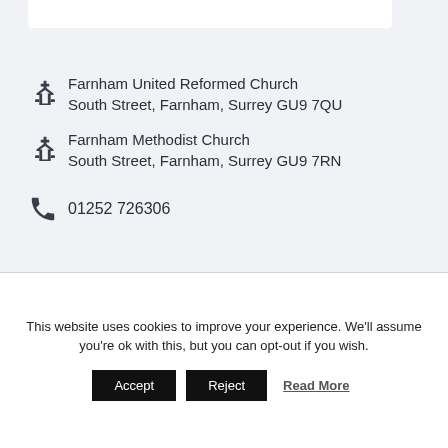Farnham United Reformed Church
South Street, Farnham, Surrey GU9 7QU
Farnham Methodist Church
South Street, Farnham, Surrey GU9 7RN
01252 726306
This website uses cookies to improve your experience. We'll assume you're ok with this, but you can opt-out if you wish.
Accept
Reject
Read More